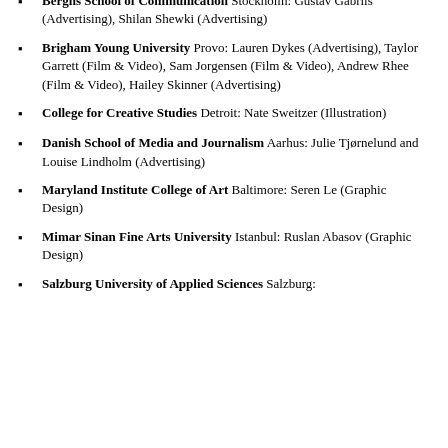Berghs School of Communication Stockholm: Gustav Gabrils (Advertising), Shilan Shewki (Advertising)
Brigham Young University Provo: Lauren Dykes (Advertising), Taylor Garrett (Film & Video), Sam Jorgensen (Film & Video), Andrew Rhee (Film & Video), Hailey Skinner (Advertising)
College for Creative Studies Detroit: Nate Sweitzer (Illustration)
Danish School of Media and Journalism Aarhus: Julie Tjørnelund and Louise Lindholm (Advertising)
Maryland Institute College of Art Baltimore: Seren Le (Graphic Design)
Mimar Sinan Fine Arts University Istanbul: Ruslan Abasov (Graphic Design)
Salzburg University of Applied Sciences Salzburg: